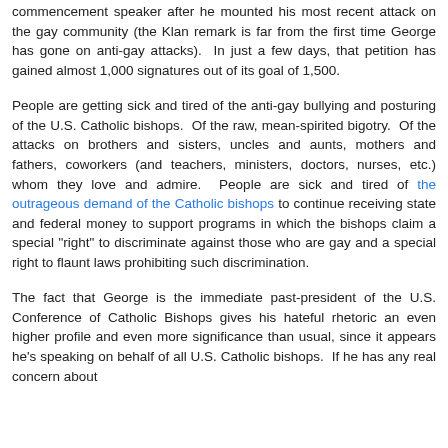commencement speaker after he mounted his most recent attack on the gay community (the Klan remark is far from the first time George has gone on anti-gay attacks).  In just a few days, that petition has gained almost 1,000 signatures out of its goal of 1,500.
People are getting sick and tired of the anti-gay bullying and posturing of the U.S. Catholic bishops.  Of the raw, mean-spirited bigotry.  Of the attacks on brothers and sisters, uncles and aunts, mothers and fathers, coworkers (and teachers, ministers, doctors, nurses, etc.) whom they love and admire.  People are sick and tired of the outrageous demand of the Catholic bishops to continue receiving state and federal money to support programs in which the bishops claim a special "right" to discriminate against those who are gay and a special right to flaunt laws prohibiting such discrimination.
The fact that George is the immediate past-president of the U.S. Conference of Catholic Bishops gives his hateful rhetoric an even higher profile and even more significance than usual, since it appears he's speaking on behalf of all U.S. Catholic bishops.  If he has any real concern about